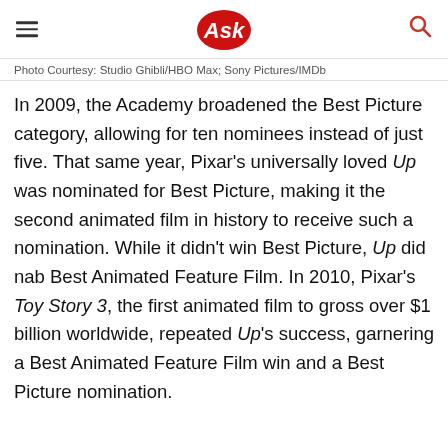Ask
Photo Courtesy: Studio Ghibli/HBO Max; Sony Pictures/IMDb
In 2009, the Academy broadened the Best Picture category, allowing for ten nominees instead of just five. That same year, Pixar’s universally loved Up was nominated for Best Picture, making it the second animated film in history to receive such a nomination. While it didn’t win Best Picture, Up did nab Best Animated Feature Film. In 2010, Pixar’s Toy Story 3, the first animated film to gross over $1 billion worldwide, repeated Up’s success, garnering a Best Animated Feature Film win and a Best Picture nomination.